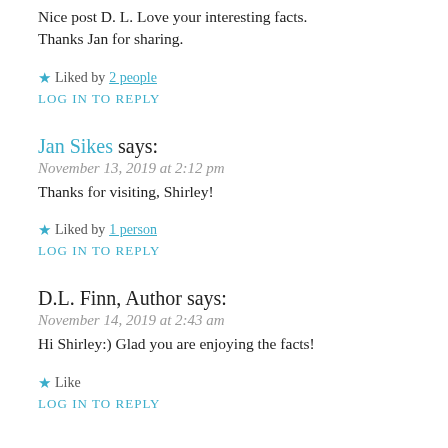Nice post D. L. Love your interesting facts.
Thanks Jan for sharing.
★ Liked by 2 people
LOG IN TO REPLY
Jan Sikes says:
November 13, 2019 at 2:12 pm
Thanks for visiting, Shirley!
★ Liked by 1 person
LOG IN TO REPLY
D.L. Finn, Author says:
November 14, 2019 at 2:43 am
Hi Shirley:) Glad you are enjoying the facts!
★ Like
LOG IN TO REPLY